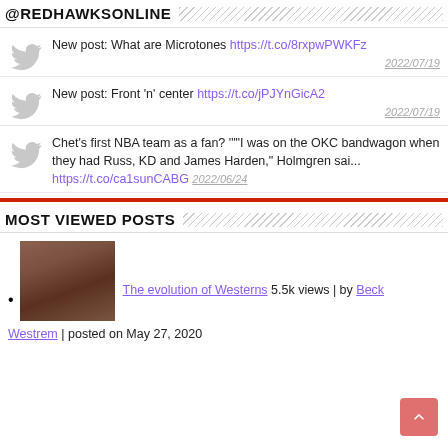@REDHAWKSONLINE
New post: What are Microtones https://t.co/8rxpwPWKFz
2022/07/19
New post: Front 'n' center https://t.co/jPJYnGicA2
2022/07/19
Chet's first NBA team as a fan? ""I was on the OKC bandwagon when they had Russ, KD and James Harden," Holmgren sai...
https://t.co/ca1sunCABG 2022/06/24
MOST VIEWED POSTS
The evolution of Westerns 5.5k views | by Beck Westrem | posted on May 27, 2020